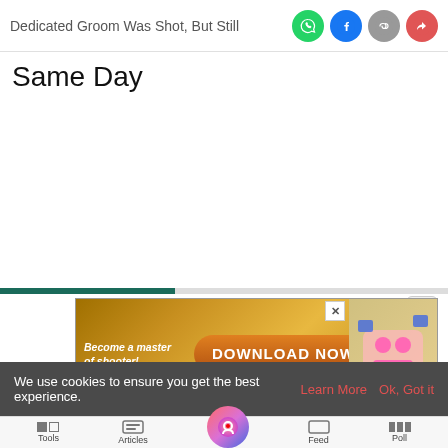Dedicated Groom Was Shot, But Still
Same Day
[Figure (screenshot): Mobile web browser showing a partially loaded article page with a progress bar and an advertisement banner reading 'Become a master of shooter! DOWNLOAD NOW' with colorful game graphics]
We use cookies to ensure you get the best experience.
Learn More   Ok, Got it